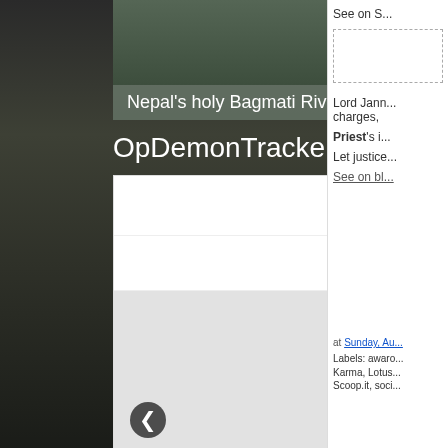[Figure (screenshot): Background forest/trees scene (grayscale/dark)]
Nepal's holy Bagmati River choked with black se...
OpDemonTracker: Vector Four
Denizens of Zophos
Lamentations 2:19 (ESV)
Curated by Gijō
[Figure (logo): The United States Department of Justice book cover/logo with gold eagle seal on dark background]
Marrero Man Sentenced to 97 Months in Federal ...
See on S...
Lord Jann... charges,
Priest's i...
Let justice...
See on bl...
at Sunday, Au...
Labels: awaro... Karma, Lotus... Scoop.it, soci...